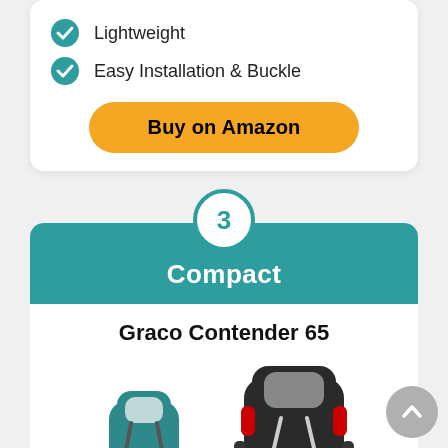Lightweight
Easy Installation & Buckle
Buy on Amazon
3 Compact
Graco Contender 65
[Figure (photo): Two Graco Contender 65 car seats shown side by side — one teal/grey and one dark grey/black with red accents]